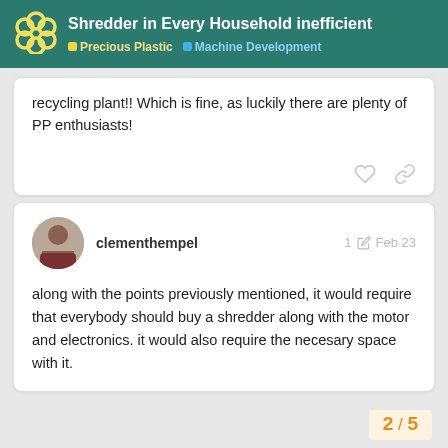Shredder in Every Household inefficient — Precious Plastic | Machine Development
recycling plant!! Which is fine, as luckily there are plenty of PP enthusiasts!
clementhempel  1  Feb 23
along with the points previously mentioned, it would require that everybody should buy a shredder along with the motor and electronics. it would also require the necesary space with it.
2 / 5